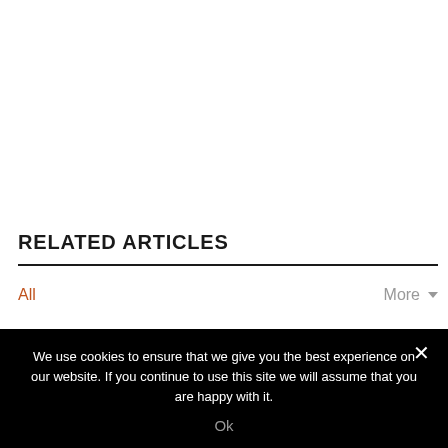RELATED ARTICLES
All
More
We use cookies to ensure that we give you the best experience on our website. If you continue to use this site we will assume that you are happy with it.
Ok